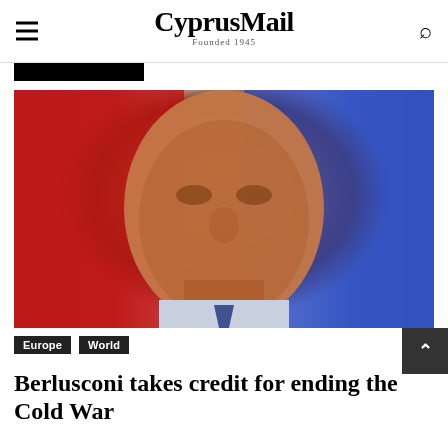CyprusMail — Founded 1945
[Figure (photo): Close-up photo of Silvio Berlusconi looking upward, against a red and blue studio background]
Europe  World
Berlusconi takes credit for ending the Cold War